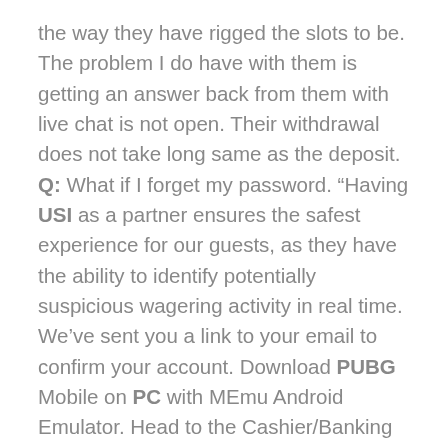the way they have rigged the slots to be. The problem I do have with them is getting an answer back from them with live chat is not open. Their withdrawal does not take long same as the deposit. Q: What if I forget my password. “Having USI as a partner ensures the safest experience for our guests, as they have the ability to identify potentially suspicious wagering activity in real time. We’ve sent you a link to your email to confirm your account. Download PUBG Mobile on PC with MEmu Android Emulator. Head to the Cashier/Banking section of the online casino and choose one of the easy to use payment methods. Collect 100k+ Free Chips 05. Get BITCOIN BONUS of $3,750 at BOVADA. The bonus wagering requirements are x30. Monday Day 2 Deposit around $250, run it up to $1,000, go busto. 20 table games Blackjack, craps and roulette. The Cholla Course at We Ko Pa is rated